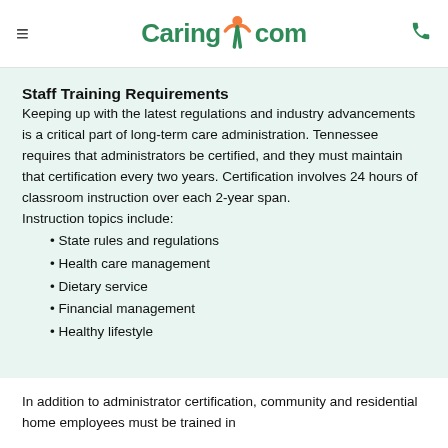Caring.com
Staff Training Requirements
Keeping up with the latest regulations and industry advancements is a critical part of long-term care administration. Tennessee requires that administrators be certified, and they must maintain that certification every two years. Certification involves 24 hours of classroom instruction over each 2-year span.
Instruction topics include:
State rules and regulations
Health care management
Dietary service
Financial management
Healthy lifestyle
In addition to administrator certification, community and residential home employees must be trained in